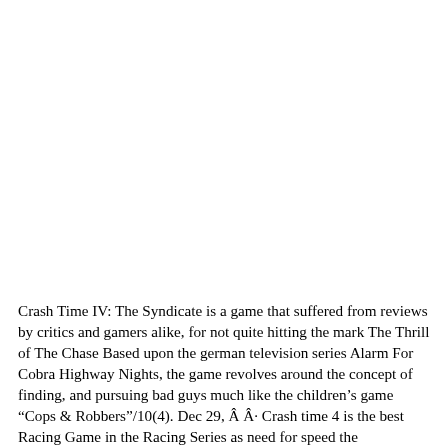Crash Time IV: The Syndicate is a game that suffered from reviews by critics and gamers alike, for not quite hitting the mark The Thrill of The Chase Based upon the german television series Alarm For Cobra Highway Nights, the game revolves around the concept of finding, and pursuing bad guys much like the children’s game “Cops & Robbers”/10(4). Dec 29, Â Â· Crash time 4 is the best Racing Game in the Racing Series as need for speed the